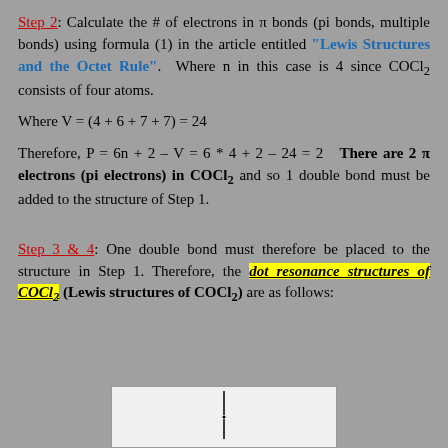Step 2: Calculate the # of electrons in π bonds (pi bonds, multiple bonds) using formula (1) in the article entitled "Lewis Structures and the Octet Rule". Where n in this case is 4 since COCl2 consists of four atoms.
Where V = (4 + 6 + 7 + 7) = 24
Therefore, P = 6n + 2 – V = 6 * 4 + 2 – 24 = 2   There are 2 π electrons (pi electrons) in COCl2 and so 1 double bond must be added to the structure of Step 1.
Step 3 & 4: One double bond must therefore be placed to the structure in Step 1. Therefore, the dot resonance structures of COCl2 (Lewis structures of COCl2) are as follows:
[Figure (illustration): Partial chemical structure diagram showing beginning of COCl2 Lewis/resonance structure, white background box]